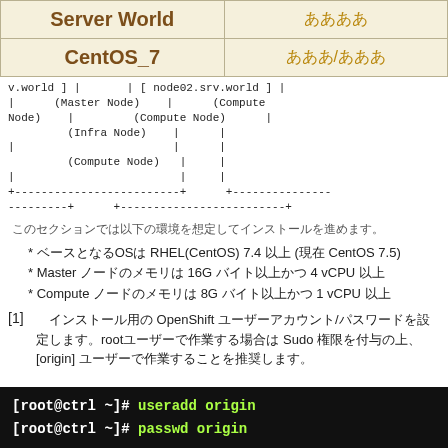| Server World | ああああ |
| --- | --- |
| CentOS_7 | あああ/あああ |
v.world ] |       | [ node02.srv.world ] |
|      (Master Node)    |      (Compute
Node)    |         (Compute Node)      |
         (Infra Node)    |
|
         (Compute Node)   |
|
+-------------------------+      +---------------
---------+      +-------------------------+
このセクションでは以下の環境を想定してインストールを進めます。
* ベースとなるOSは RHEL(CentOS) 7.4 以上 (現在 CentOS 7.5)
* Master ノードのメモリは 16G バイト以上かつ 4 vCPU 以上
* Compute ノードのメモリは 8G バイト以上かつ 1 vCPU 以上
[1]　インストール用の OpenShift ユーザーアカウント/パスワードを設定します。rootユーザーで作業する場合は Sudo 権限を付与の上、[origin] ユーザーで作業することを推奨します。
[root@ctrl ~]# useradd origin
[root@ctrl ~]# passwd origin